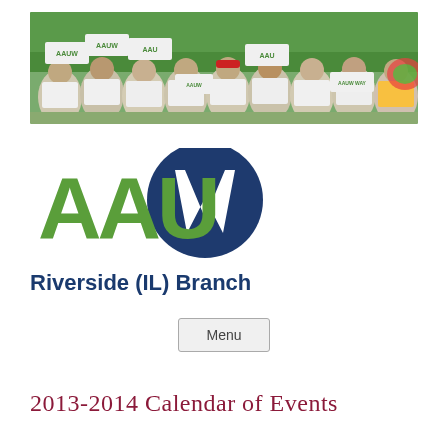[Figure (photo): Group photo of AAUW members wearing white AAUW t-shirts and holding AAUW signs, outdoors with trees in background]
[Figure (logo): AAUW logo: green letters A A U and dark blue W with circular arc above it]
Riverside (IL) Branch
Menu
2013-2014 Calendar of Events